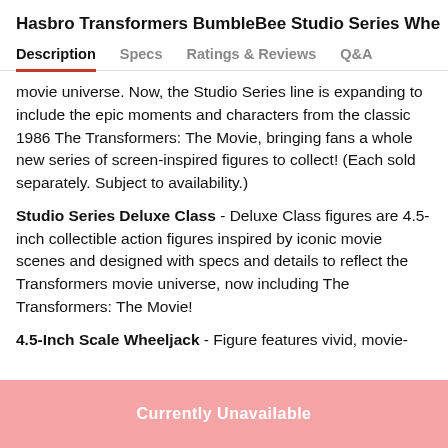Hasbro Transformers BumbleBee Studio Series Whe
Description | Specs | Ratings & Reviews | Q&A
movie universe. Now, the Studio Series line is expanding to include the epic moments and characters from the classic 1986 The Transformers: The Movie, bringing fans a whole new series of screen-inspired figures to collect! (Each sold separately. Subject to availability.)
Studio Series Deluxe Class - Deluxe Class figures are 4.5-inch collectible action figures inspired by iconic movie scenes and designed with specs and details to reflect the Transformers movie universe, now including The Transformers: The Movie!
4.5-Inch Scale Wheeljack - Figure features vivid, movie-
Currently Unavailable